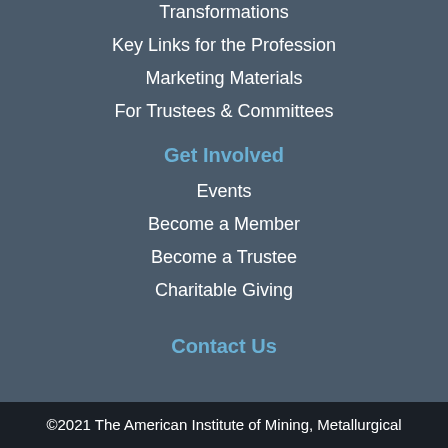Transformations
Key Links for the Profession
Marketing Materials
For Trustees & Committees
Get Involved
Events
Become a Member
Become a Trustee
Charitable Giving
Contact Us
©2021 The American Institute of Mining, Metallurgical